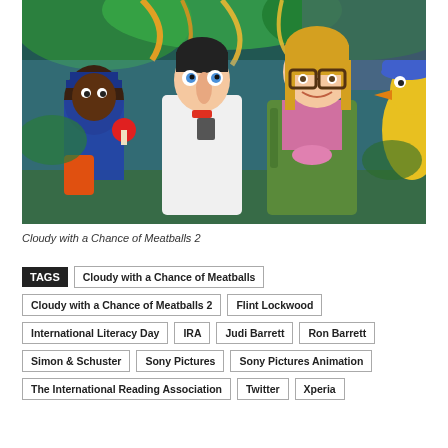[Figure (photo): Animated scene from Cloudy with a Chance of Meatballs 2 showing cartoon characters including a scientist in a white lab coat, a woman with blonde hair and glasses, a police officer, and a yellow bird-like character, in a colorful forest setting.]
Cloudy with a Chance of Meatballs 2
TAGS  Cloudy with a Chance of Meatballs  Cloudy with a Chance of Meatballs 2  Flint Lockwood  International Literacy Day  IRA  Judi Barrett  Ron Barrett  Simon & Schuster  Sony Pictures  Sony Pictures Animation  The International Reading Association  Twitter  Xperia